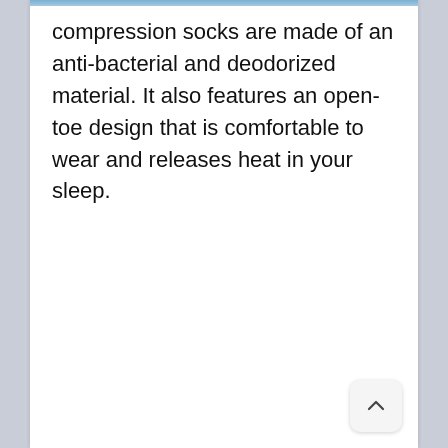compression socks are made of an anti-bacterial and deodorized material. It also features an open-toe design that is comfortable to wear and releases heat in your sleep.